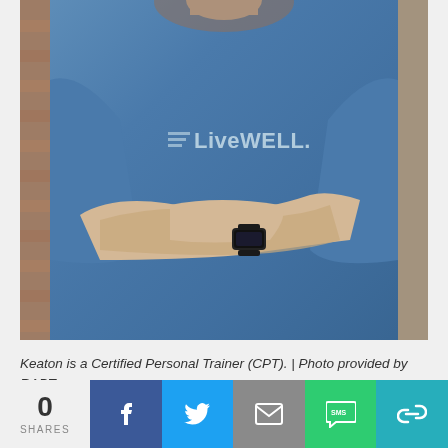[Figure (photo): A man wearing a blue 'LiveWELL' branded t-shirt with arms crossed, wearing a black smartwatch. The photo is a professional portrait-style shot showing the torso and lower face area against a blurred brick background.]
Keaton is a Certified Personal Trainer (CPT). | Photo provided by RAPT